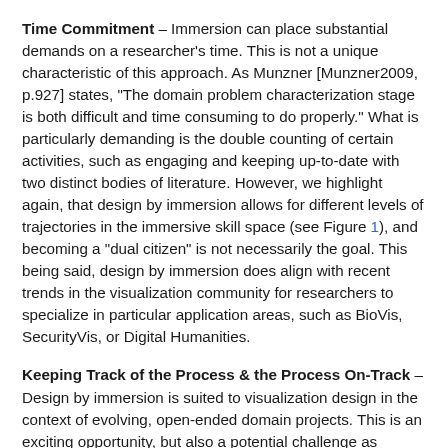Time Commitment – Immersion can place substantial demands on a researcher's time. This is not a unique characteristic of this approach. As Munzner [Munzner2009, p.927] states, "The domain problem characterization stage is both difficult and time consuming to do properly." What is particularly demanding is the double counting of certain activities, such as engaging and keeping up-to-date with two distinct bodies of literature. However, we highlight again, that design by immersion allows for different levels of trajectories in the immersive skill space (see Figure 1), and becoming a "dual citizen" is not necessarily the goal. This being said, design by immersion does align with recent trends in the visualization community for researchers to specialize in particular application areas, such as BioVis, SecurityVis, or Digital Humanities.
Keeping Track of the Process & the Process On-Track – Design by immersion is suited to visualization design in the context of evolving, open-ended domain projects. This is an exciting opportunity, but also a potential challenge as keeping a focus can be difficult as new perspectives and new questions emerge. As a project evolves, many ideas will crop up, some to be immediately explored while others